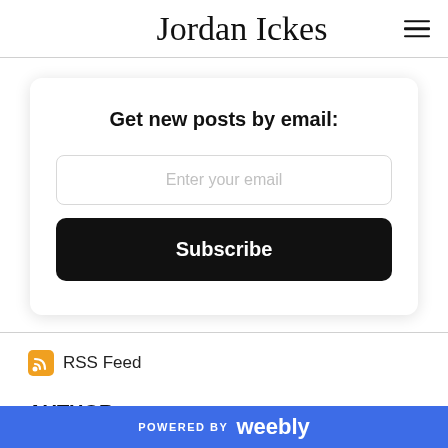Jordan Ickes
Get new posts by email:
Enter your email
Subscribe
RSS Feed
AUTHOR
POWERED BY weebly